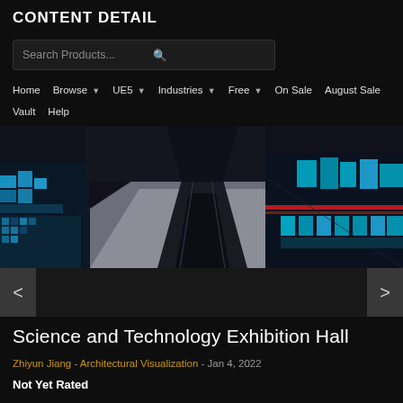CONTENT DETAIL
Search Products...
Home  Browse  UE5  Industries  Free  On Sale  August Sale
Vault  Help
[Figure (illustration): Sci-fi interior of Science and Technology Exhibition Hall with glowing blue structures, reflective floor, and futuristic architectural elements]
Science and Technology Exhibition Hall
Zhiyun Jiang - Architectural Visualization - Jan 4, 2022
Not Yet Rated